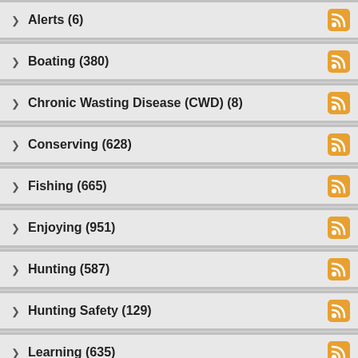Alerts (6)
Boating (380)
Chronic Wasting Disease (CWD) (8)
Conserving (628)
Fishing (665)
Enjoying (951)
Hunting (587)
Hunting Safety (129)
Learning (635)
License (165)
News (2195)
Outdoor Heritage (10)
Public Notices (452)